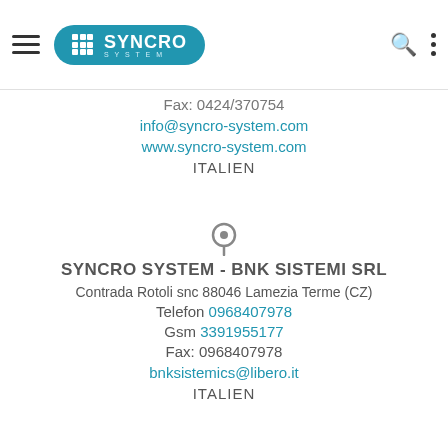Syncro System logo header with hamburger menu, logo, search icon
Fax: 0424/370754
info@syncro-system.com
www.syncro-system.com
ITALIEN
SYNCRO SYSTEM - BNK SISTEMI SRL
Contrada Rotoli snc 88046 Lamezia Terme (CZ)
Telefon 0968407978
Gsm 3391955177
Fax: 0968407978
bnksistemics@libero.it
ITALIEN
JOHAN RÖNNING LTD